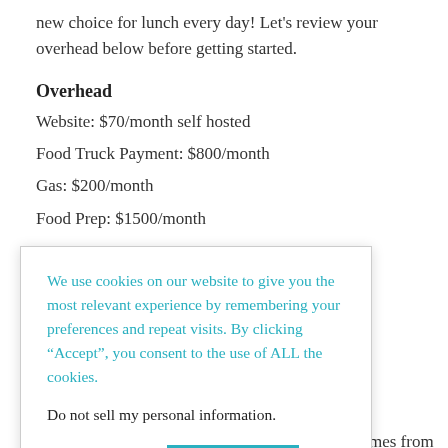new choice for lunch every day! Let's review your overhead below before getting started.
Overhead
Website: $70/month self hosted
Food Truck Payment: $800/month
Gas: $200/month
Food Prep: $1500/month
We use cookies on our website to give you the most relevant experience by remembering your preferences and repeat visits. By clicking “Accept”, you consent to the use of ALL the cookies.
Do not sell my personal information.
Cookie settings  ACCEPT
for your ir monthly o your business.
You must accurately track where your income comes from